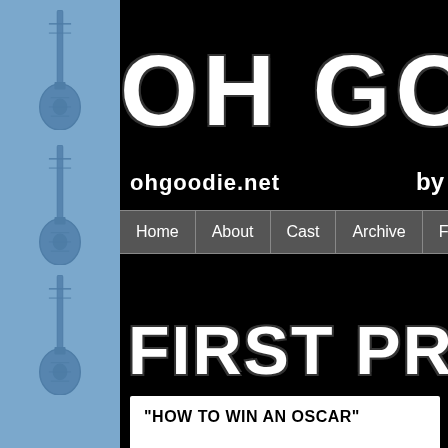[Figure (illustration): Light blue sidebar with repeating electric guitar silhouette illustrations arranged vertically]
OH GOO
ohgoodie.net   by
Home | About | Cast | Archive | Fan Art
FIRST PRE
"HOW TO WIN AN OSCAR"